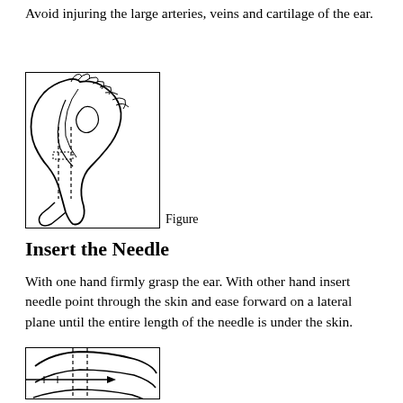Avoid injuring the large arteries, veins and cartilage of the ear.
[Figure (illustration): Line drawing of an animal ear (rabbit/livestock) showing dashed lines indicating needle insertion area on the ear anatomy, viewed from the side.]
Figure
Insert the Needle
With one hand firmly grasp the ear. With other hand insert needle point through the skin and ease forward on a lateral plane until the entire length of the needle is under the skin.
[Figure (illustration): Partial line drawing (cropped) showing a cross-sectional view of needle insertion through ear skin on a lateral plane.]